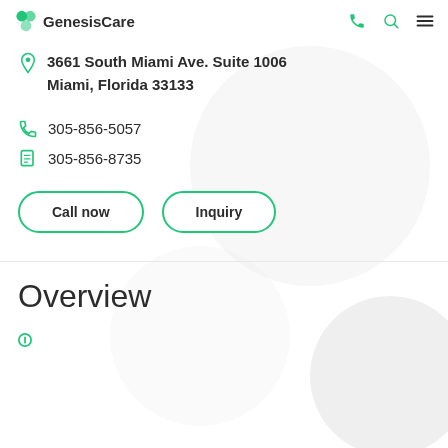GenesisCare
3661 South Miami Ave. Suite 1006
Miami, Florida 33133
305-856-5057
305-856-8735
Call now
Inquiry
Overview